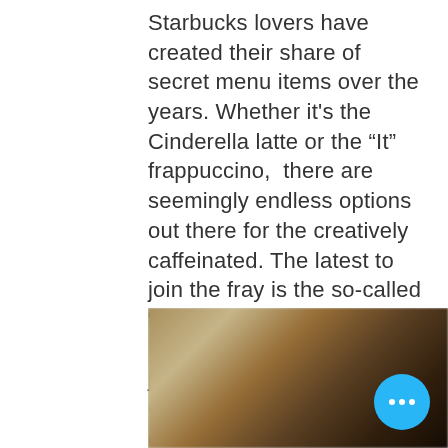Starbucks lovers have created their share of secret menu items over the years. Whether it's the Cinderella latte or the "It" frappuccino,  there are seemingly endless options out there for the creatively  caffeinated. The latest to join the fray is the so-called "Jack Skellington Frappuccino" and it might just be the perfect mix of  Christmas and Halloween drinks.
[Figure (photo): A blurred dark photograph, likely of a Starbucks drink, with a blue circular button with three white dots (more options/menu button) in the lower right corner.]